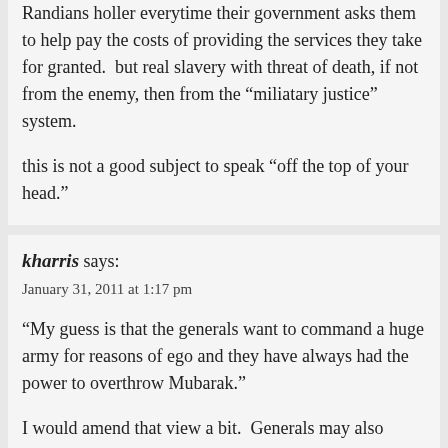Randians holler everytime their government asks them to help pay the costs of providing the services they take for granted.  but real slavery with threat of death, if not from the enemy, then from the “miliatary justice” system.

this is not a good subject to speak “off the top of your head.”
kharris says:
January 31, 2011 at 1:17 pm

“My guess is that the generals want to command a huge army for reasons of ego and they have always had the power to overthrow Mubarak.”

I would amend that view a bit.  Generals may also